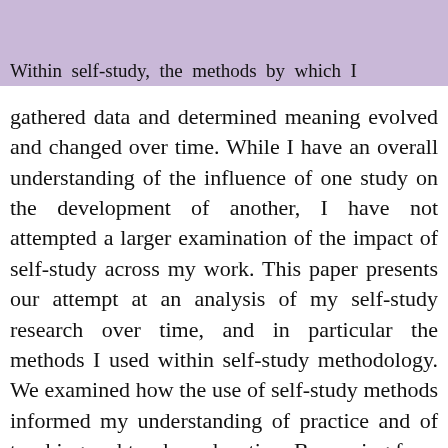methodology of choice to examine practice.
Textiles a...
Within self-study, the methods by which I gathered data and determined meaning evolved and changed over time. While I have an overall understanding of the influence of one study on the development of another, I have not attempted a larger examination of the impact of self-study across my work. This paper presents our attempt at an analysis of my self-study research over time, and in particular the methods I used within self-study methodology. We examined how the use of self-study methods informed my understanding of practice and of teaching and teacher education. Borrowing from frameworks in the literature on developing self-study research